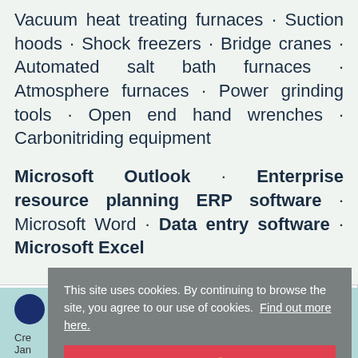Vacuum heat treating furnaces · Suction hoods · Shock freezers · Bridge cranes · Automated salt bath furnaces · Atmosphere furnaces · Power grinding tools · Open end hand wrenches · Carbonitriding equipment
Microsoft Outlook · Enterprise resource planning ERP software · Microsoft Word · Data entry software · Microsoft Excel
[Figure (screenshot): Cookie consent banner overlay on a webpage. Gray banner reads: 'This site uses cookies. By continuing to browse the site, you agree to our use of cookies. Find out more here.' with a red 'Got it!' button below.]